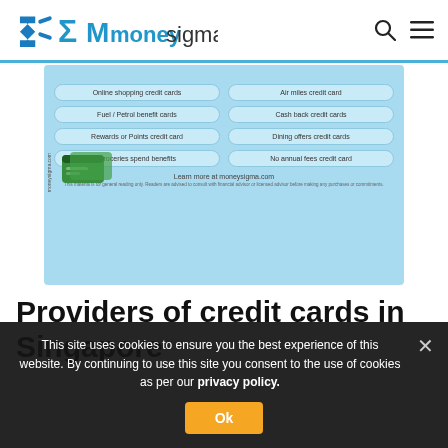moneysigma
[Figure (infographic): Infographic showing types of credit cards in Singapore including: Online shopping credit cards, Air miles credit card, Fuel/Petrol benefit cards, Cash back credit cards, Rewards or Points credit card, Dining offers credit cards, Groceries spend benefits, No annual fees credit card. Learn more at moneysigma.com]
Providers of credit cards in Singapore
This site uses cookies to ensure you the best experience of this website. By continuing to use this site you consent to the use of cookies as per our privacy policy.